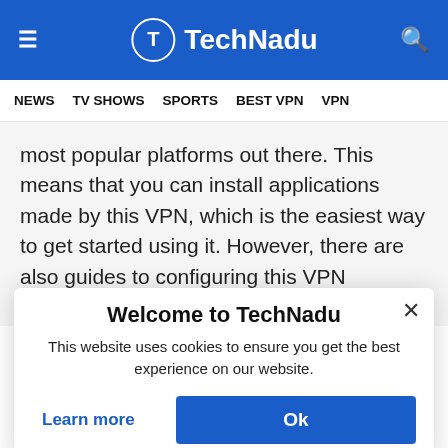TechNadu — hamburger menu, logo, search icon
NEWS  TV SHOWS  SPORTS  BEST VPN  VPN
most popular platforms out there. This means that you can install applications made by this VPN, which is the easiest way to get started using it. However, there are also guides to configuring this VPN manually, which includes Windows (10, 8, and 7), Android, MacOS X, iOS, Linux
Welcome to TechNadu
This website uses cookies to ensure you get the best experience on our website.
Learn more
Ok